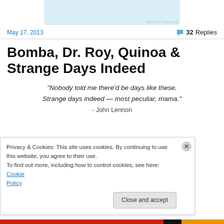[Figure (other): Advertisement banner area with blue color and report ad label]
REPORT THIS AD
May 17, 2013
32 Replies
Bomba, Dr. Roy, Quinoa & Strange Days Indeed
“Nobody told me there’d be days like these, Strange days indeed — most peculiar, mama.”
- John Lennon
Privacy & Cookies: This site uses cookies. By continuing to use this website, you agree to their use.
To find out more, including how to control cookies, see here: Cookie Policy
Close and accept